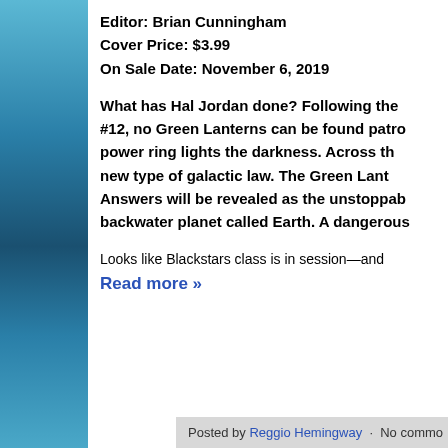Editor: Brian Cunningham
Cover Price: $3.99
On Sale Date: November 6, 2019
What has Hal Jordan done? Following the #12, no Green Lanterns can be found patro power ring lights the darkness. Across th new type of galactic law. The Green Lant Answers will be revealed as the unstoppab backwater planet called Earth. A dangerous
Looks like Blackstars class is in session—and
Read more »
Posted by Reggio Hemingway · No commo